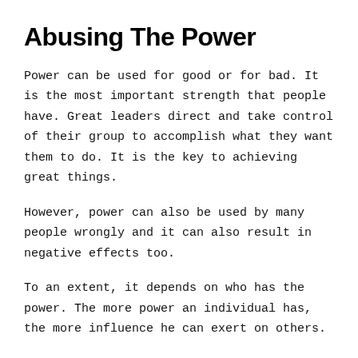Abusing The Power
Power can be used for good or for bad. It is the most important strength that people have. Great leaders direct and take control of their group to accomplish what they want them to do. It is the key to achieving great things.
However, power can also be used by many people wrongly and it can also result in negative effects too.
To an extent, it depends on who has the power. The more power an individual has, the more influence he can exert on others.
A person who is in a position of power tends to be